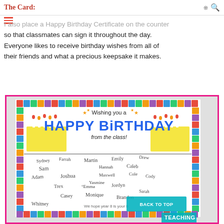The Card:
I also place a Happy Birthday Certificate on the counter so that classmates can sign it throughout the day. Everyone likes to receive birthday wishes from all of their friends and what a precious keepsake it makes.
[Figure (photo): A Happy Birthday certificate/card with colorful tile border, 'Wishing you a HAPPY BIRTHDAY from the class!' banner with birthday candles, and student signatures including Sydney, Farrah, Martin, Emily, Drew, Sam, Hannah, Caleb, Adam, Joshua, Maxwell, Cole, Cody, Trex, Yasmine, Emma, Jordyn, Casey, Monique, Sarah, Brandon, Whitney. Bottom text reads 'We hope year 8 is your b...' with a 'BACK TO TOP' teal button and 'TEACHING' logo.]